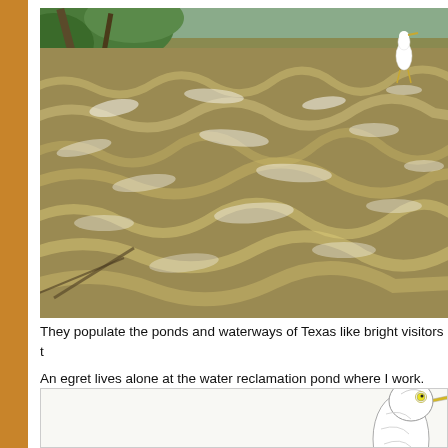[Figure (photo): A fast-moving turbid brown waterway with churning waves and white foam. Green vegetation visible at the upper left bank. A white egret/heron stands in the upper right area of the churning water.]
They populate the ponds and waterways of Texas like bright visitors t
An egret lives alone at the water reclamation pond where I work. It's
[Figure (illustration): A partial illustration of an egret's head and neck, drawn in pencil or ink style, visible in the lower right of the page.]